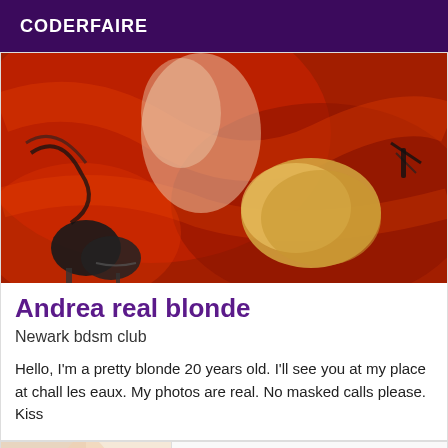CODERFAIRE
[Figure (photo): Person with blonde hair lying on red satin sheets with black restraints/cuffs visible]
Andrea real blonde
Newark bdsm club
Hello, I'm a pretty blonde 20 years old. I'll see you at my place at chall les eaux. My photos are real. No masked calls please. Kiss
[Figure (photo): Partial view of a second listing photo with a Verified badge]